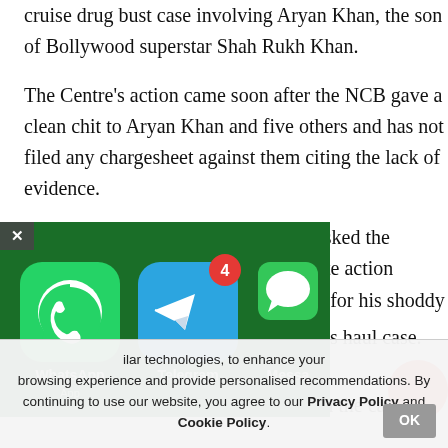cruise drug bust case involving Aryan Khan, the son of Bollywood superstar Shah Rukh Khan.
The Centre's action came soon after the NCB gave a clean chit to Aryan Khan and five others and has not filed any chargesheet against them citing the lack of evidence.
"It is learnt that the government has asked the competent authority to take appropriate action against [... Wankhede] for his shoddy [... Aryan] Khan drugs haul case. The [... has ta]ken action in the case of [...]
[Figure (screenshot): Screenshot of a smartphone screen showing WhatsApp, Telegram (with badge showing 4 notifications), and Messages app icons on a dark green background. A close button (x) is visible in the top-left corner.]
ilar technologies, to enhance your browsing experience and provide personalised recommendations. By continuing to use our website, you agree to our Privacy Policy and Cookie Policy.